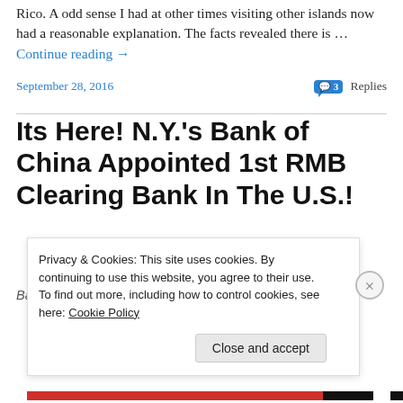Rico. A odd sense I had at other times visiting other islands now had a reasonable explanation. The facts revealed there is … Continue reading →
September 28, 2016
3 Replies
Its Here! N.Y.'s Bank of China Appointed 1st RMB Clearing Bank In The U.S.!
Bank of China - New York Branch (BOC-NYB) BEIJING
Privacy & Cookies: This site uses cookies. By continuing to use this website, you agree to their use.
To find out more, including how to control cookies, see here: Cookie Policy
Close and accept